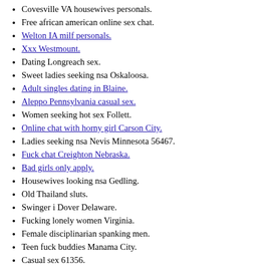Covesville VA housewives personals.
Free african american online sex chat.
Welton IA milf personals.
Xxx Westmount.
Dating Longreach sex.
Sweet ladies seeking nsa Oskaloosa.
Adult singles dating in Blaine.
Aleppo Pennsylvania casual sex.
Women seeking hot sex Follett.
Online chat with horny girl Carson City.
Ladies seeking nsa Nevis Minnesota 56467.
Fuck chat Creighton Nebraska.
Bad girls only apply.
Housewives looking nsa Gedling.
Old Thailand sluts.
Swinger i Dover Delaware.
Fucking lonely women Virginia.
Female disciplinarian spanking men.
Teen fuck buddies Manama City.
Casual sex 61356.
Blowjob in Knoxville Tennessee.
An older woman fantasy.
Mondrian and Colour